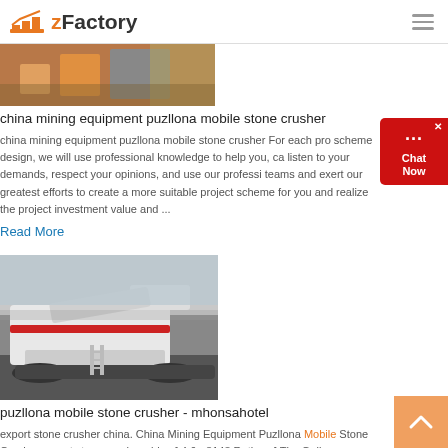zFactory
[Figure (photo): Construction/mining equipment photo with orange machinery]
china mining equipment puzllona mobile stone crusher
china mining equipment puzllona mobile stone crusher For each pro scheme design, we will use professional knowledge to help you, ca listen to your demands, respect your opinions, and use our professi teams and exert our greatest efforts to create a more suitable project scheme for you and realize the project investment value and ...
Read More
[Figure (photo): White mobile stone crusher machine on tracks outdoors]
puzllona mobile stone crusher - mhonsahotel
export stone crusher china. China Mining Equipment Puzllona Mobile Stone Crusher export stone crusher china [ 4.6 - 8148 Ratings ] The Gulin